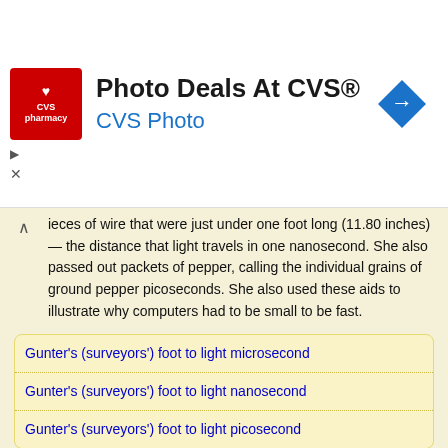[Figure (screenshot): CVS Pharmacy advertisement banner: red CVS pharmacy logo square on left, 'Photo Deals At CVS®' bold title, 'CVS Photo' blue subtitle, blue diamond arrow icon on right, close/play controls on left edge]
ieces of wire that were just under one foot long (11.80 inches) — the distance that light travels in one nanosecond. She also passed out packets of pepper, calling the individual grains of ground pepper picoseconds. She also used these aids to illustrate why computers had to be small to be fast.
Gunter's (surveyors') foot to light microsecond
Gunter's (surveyors') foot to light nanosecond
Gunter's (surveyors') foot to light picosecond
Natural units
In physics, natural units are physical units of measurement based only on universal physical constants. The origin of their definition comes only from properties of nature and not from any human construct.